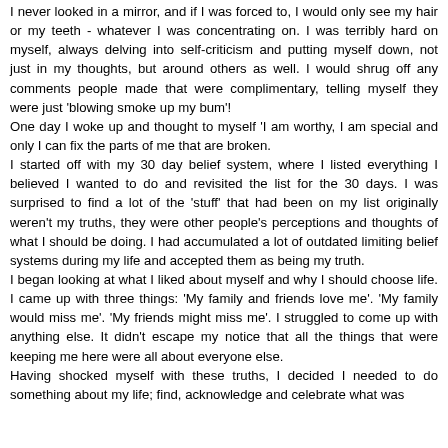I never looked in a mirror, and if I was forced to, I would only see my hair or my teeth - whatever I was concentrating on. I was terribly hard on myself, always delving into self-criticism and putting myself down, not just in my thoughts, but around others as well. I would shrug off any comments people made that were complimentary, telling myself they were just 'blowing smoke up my bum'! One day I woke up and thought to myself 'I am worthy, I am special and only I can fix the parts of me that are broken. I started off with my 30 day belief system, where I listed everything I believed I wanted to do and revisited the list for the 30 days. I was surprised to find a lot of the 'stuff' that had been on my list originally weren't my truths, they were other people's perceptions and thoughts of what I should be doing. I had accumulated a lot of outdated limiting belief systems during my life and accepted them as being my truth. I began looking at what I liked about myself and why I should choose life. I came up with three things: 'My family and friends love me'. 'My family would miss me'. 'My friends might miss me'. I struggled to come up with anything else. It didn't escape my notice that all the things that were keeping me here were all about everyone else. Having shocked myself with these truths, I decided I needed to do something about my life; find, acknowledge and celebrate what was